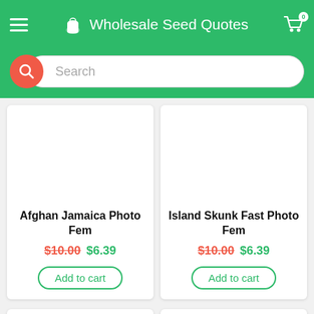Wholesale Seed Quotes
Search
Afghan Jamaica Photo Fem
$10.00  $6.39
Add to cart
Island Skunk Fast Photo Fem
$10.00  $6.39
Add to cart
Sale!
Sale!